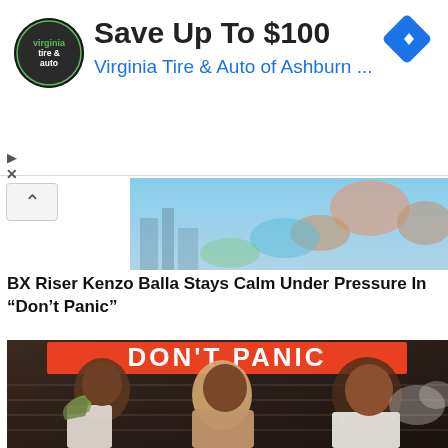[Figure (screenshot): Advertisement banner for Virginia Tire & Auto of Ashburn featuring a circular logo with 'tire & auto' text, headline 'Save Up To $100', subtitle 'Virginia Tire & Auto of Ashburn ...', and a blue diamond navigation icon on the right]
[Figure (photo): Partial image strip showing a beach/outdoor scene with people, sky, and colorful elements]
BX Riser Kenzo Balla Stays Calm Under Pressure In “Don’t Panic”
[Figure (photo): Music promotional photo showing three young men posing in front of a 'DON'T PANIC' sign. The man on the left holds cash/money, the center man wears a beige hoodie, and the man on the right wears a white t-shirt. The image is partially visible at the bottom of the page.]